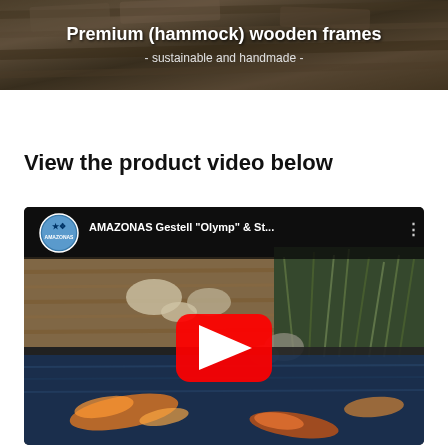[Figure (photo): Banner image showing wooden planks/lumber with white text overlay reading 'Premium (hammock) wooden frames - sustainable and handmade -']
View the product video below
[Figure (screenshot): YouTube video embed thumbnail showing AMAZONAS Gestell 'Olymp' & St... video with the Amazonas logo avatar, a red YouTube play button, and a background of a koi fish pond with wooden deck and plants.]